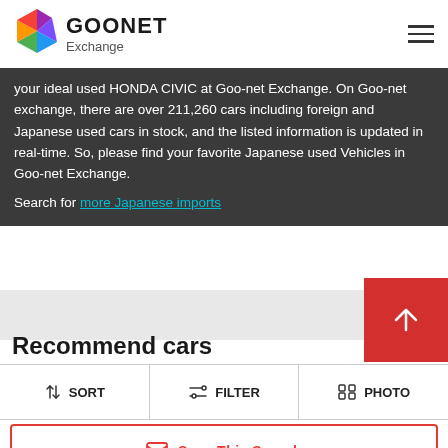[Figure (logo): Goonet Exchange logo with colorful hexagonal gem icon and bold GOONET text with Exchange subtitle]
your ideal used HONDA CIVIC at Goo-net Exchange. On Goo-net exchange, there are over 211,260 cars including foreign and Japanese used cars in stock, and the listed information is updated in real-time. So, please find your favorite Japanese used Vehicles in Goo-net Exchange.
Search for more Japanese imports
Recommend cars
SORT
FILTER
PHOTO
Save This Search